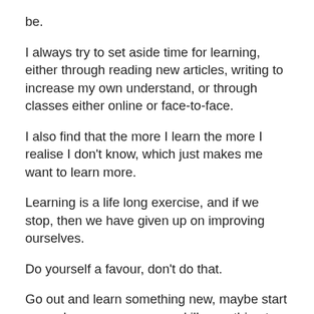be.
I always try to set aside time for learning, either through reading new articles, writing to increase my own understand, or through classes either online or face-to-face.
I also find that the more I learn the more I realise I don't know, which just makes me want to learn more.
Learning is a life long exercise, and if we stop, then we have given up on improving ourselves.
Do yourself a favour, don't do that.
Go out and learn something new, maybe start a new language, or a new skills, anything to get back into the habit of learning.
The more we learn the more we can contribute and the better we can me our lives and the lives of